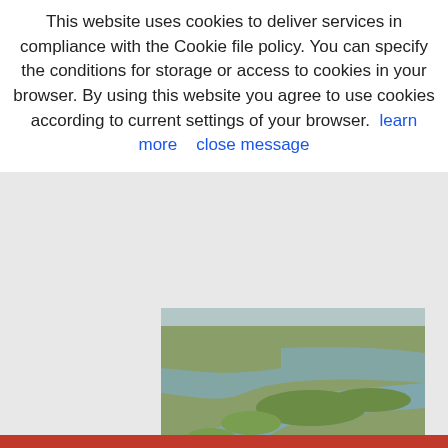This website uses cookies to deliver services in compliance with the Cookie file policy. You can specify the conditions for storage or access to cookies in your browser. By using this website you agree to use cookies according to current settings of your browser. learn more   close message
[Figure (photo): Aerial view of Diaccia Botrona wetland marshland near Castiglione della Pescaia, showing water channels winding through green marsh grass with a walkway railing visible in the foreground]
Diaccia Botrona, Castiglione della Pescaia. Author and Copyright Marco Ramerini
In the surroundings of Castiglione della Pescaia there are beautiful pine forests and wide beaches with